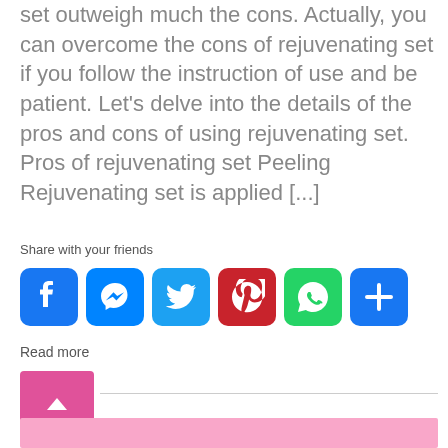set outweigh much the cons. Actually, you can overcome the cons of rejuvenating set if you follow the instruction of use and be patient. Let's delve into the details of the pros and cons of using rejuvenating set. Pros of rejuvenating set Peeling Rejuvenating set is applied [...]
Share with your friends
[Figure (infographic): Social media share buttons: Facebook, Messenger, Twitter, Pinterest, WhatsApp, More]
Read more
[Figure (other): Pink scroll-to-top button with upward chevron arrow, followed by a horizontal divider line and a pink banner bar at the bottom]